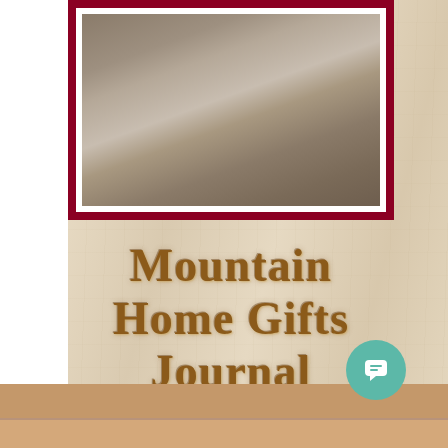[Figure (photo): Blurred/bokeh photograph with brownish-grey tones, framed with a dark red/maroon border and white inner mat, mounted on wood-grain textured background]
Mountain Home Gifts Journal